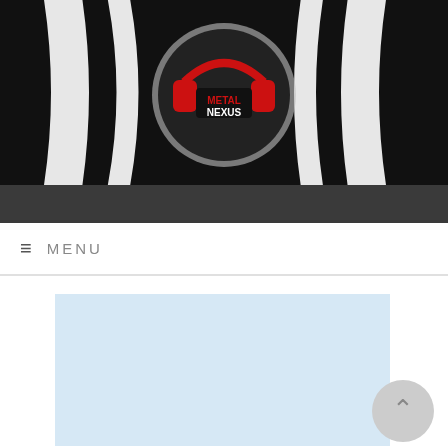[Figure (logo): Metal Nexus website header banner with black background, black and white spiral/hypnotic swirl pattern, and a red headphones logo with 'METAL NEXUS' text in the center]
MENU
[Figure (other): Light blue advertisement placeholder rectangle]
NIGHTRAGE Release New Song “The Venomous” [Stream]